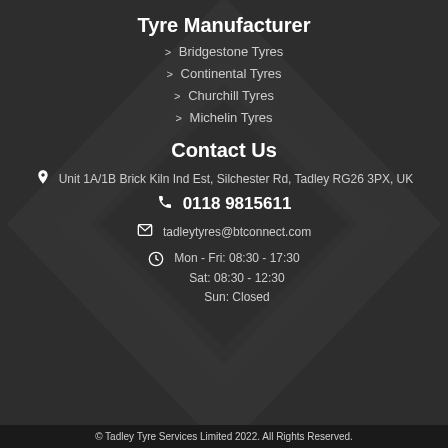Tyre Manufacturer
Bridgestone Tyres
Continental Tyres
Churchill Tyres
Michelin Tyres
Contact Us
Unit 1A/1B Brick Kiln Ind Est, Silchester Rd, Tadley RG26 3PX, UK
0118 9815611
tadleytyres@btconnect.com
Mon - Fri: 08:30 - 17:30
Sat: 08:30 - 12:30
Sun: Closed
© Tadley Tyre Services Limited 2022. All Rights Reserved.